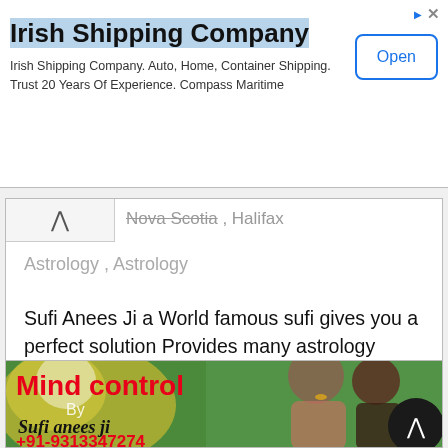[Figure (infographic): Advertisement banner for Irish Shipping Company. Title 'Irish Shipping Company', description 'Irish Shipping Company. Auto, Home, Container Shipping. Trust 20 Years Of Experience. Compass Maritime', with an 'Open' button on the right.]
Nova Scotia , Halifax
Astrology , Astrology
Sufi Anees Ji a World famous sufi gives you a perfect solution Provides many astrology services like Dailyruhani, Love Horoscope, Vashikaran, Many peo... «Read More »
[Figure (photo): Image banner showing 'Mind control By Sufi anees ji +91-9313347274' with a couple and colorful background. A dark circular chevron-up button is in the bottom right.]